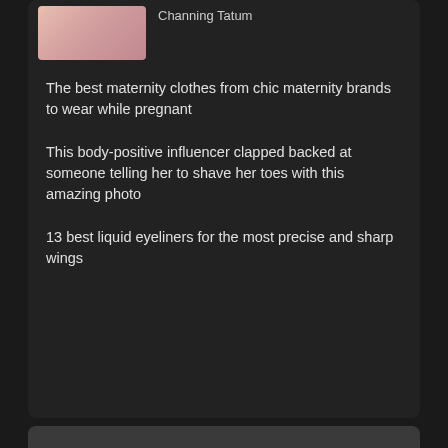[Figure (photo): Thumbnail image of a person, pink/peachy background]
Channing Tatum
The best maternity clothes from chic maternity brands to wear while pregnant
This body-positive influencer clapped backed at someone telling her to shave her toes with this amazing photo
13 best liquid eyeliners for the most precise and sharp wings